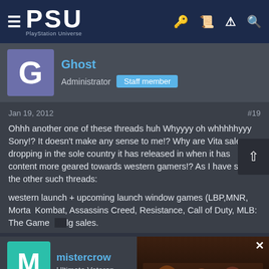PSU PlayStation Universe
Ghost
Administrator  Staff member
Jan 19, 2012  #19
Ohhh another one of these threads huh Whyyyy oh whhhhhyyy Sony!? It doesn't make any sense to me!? Why are Vita sales dropping in the sole country it has released in when it has content more geared towards western gamers!? As I have said in the other such threads:
western launch + upcoming launch window games (LBP,MNR, Mortal Kombat, Assassins Creed, Resistance, Call of Duty, MLB: The Game) big sales.
mistercrow
Ultimate Veteran
Jan 19, 2012
[QUOTE="Ghost-Rhayne, post: 5751853...
[Figure (screenshot): Video overlay showing 'THE FIFTH AND FINAL SEASON OF COD: WARZONE WILL BEGIN ON AUGUST 24' with video player controls]